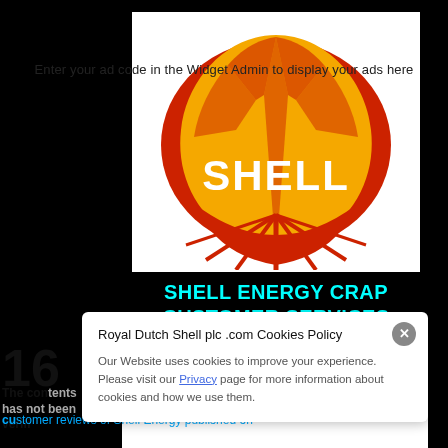Enter your ad code in the Widget Admin to display your ads here
[Figure (logo): Shell logo - red and yellow scallop shell with SHELL text in white, on black background with cyan text 'SHELL ENERGY CRAP CUSTOMER SERVICES']
16
The content has not been verifi
customer reviews of Shell Energy published on
Royal Dutch Shell plc .com Cookies Policy
Our Website uses cookies to improve your experience. Please visit our Privacy page for more information about cookies and how we use them.